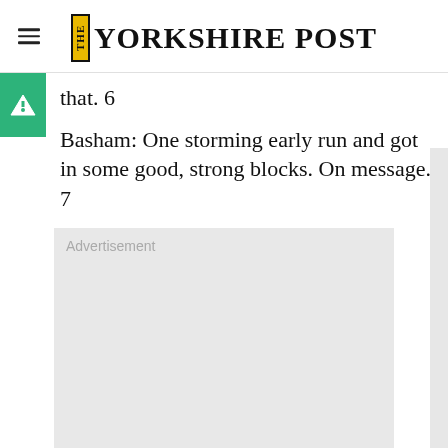THE YORKSHIRE POST
that. 6
Basham: One storming early run and got in some good, strong blocks. On message. 7
[Figure (other): Advertisement placeholder box with grey background]